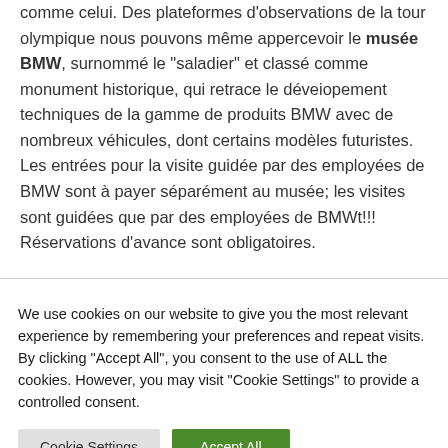comme celui. Des plateformes d'observations de la tour olympique nous pouvons même appercevoir le musée BMW, surnommé le "saladier" et classé comme monument historique, qui retrace le développement techniques de la gamme de produits BMW avec de nombreux véhicules, dont certains modèles futuristes. Les entrées pour la visite guidée par des employees de BMW sont à payer séparément au musée; les visites sont guidées que par des employees de BMWt!!! Réservations d'avance sont obligatoires.
We use cookies on our website to give you the most relevant experience by remembering your preferences and repeat visits. By clicking "Accept All", you consent to the use of ALL the cookies. However, you may visit "Cookie Settings" to provide a controlled consent.